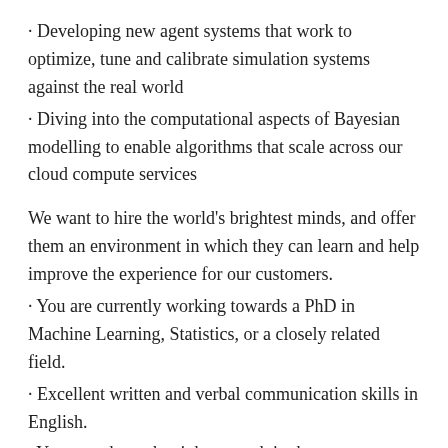· Developing new agent systems that work to optimize, tune and calibrate simulation systems against the real world
· Diving into the computational aspects of Bayesian modelling to enable algorithms that scale across our cloud compute services
We want to hire the world's brightest minds, and offer them an environment in which they can learn and help improve the experience for our customers.
· You are currently working towards a PhD in Machine Learning, Statistics, or a closely related field.
· Excellent written and verbal communication skills in English.
· You must have the right to work in the country you are applying for.
· Experience in using numpy/scipy/matplotlib and the python science ecosystem